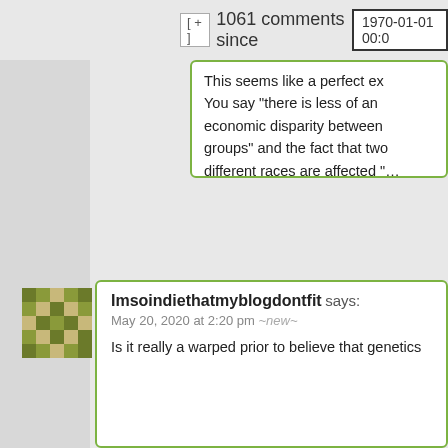[ + ]  1061 comments since  1970-01-01 00:0
This seems like a perfect ex... You say "there is less of an economic disparity between groups" and the fact that two different races are affected "... rule out cultural explanations" then say that race is an expl... Doesn't the fact that Africans... Asians are both affected tw... severely as whites rule out r... more than it rules out cultur... economic explanations?
Hide 1
Imsoindiethatmyblogdontfit says:
May 20, 2020 at 2:20 pm ~new~
Is it really a warped prior to believe that genetics